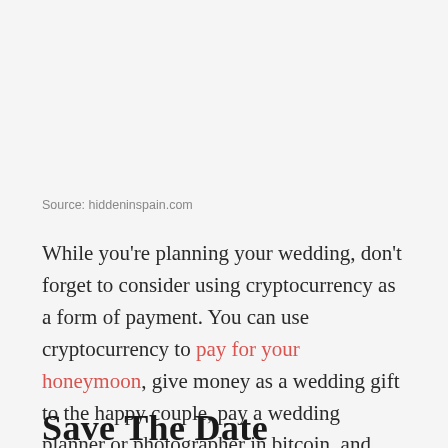Source: hiddeninspain.com
While you're planning your wedding, don't forget to consider using cryptocurrency as a form of payment. You can use cryptocurrency to pay for your honeymoon, give money as a wedding gift to the happy couple, pay a wedding planner or photographer in bitcoin, and even book your venue with digital cash.
Save The Date